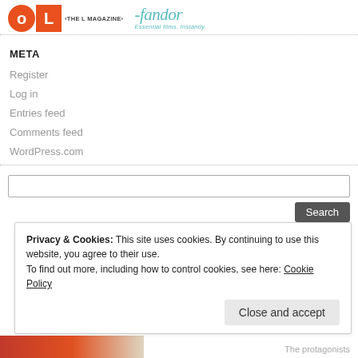‹THE L MAGAZINE› fandor Essential films. Instantly.
META
Register
Log in
Entries feed
Comments feed
WordPress.com
Privacy & Cookies: This site uses cookies. By continuing to use this website, you agree to their use.
To find out more, including how to control cookies, see here: Cookie Policy
Close and accept
The protagonists